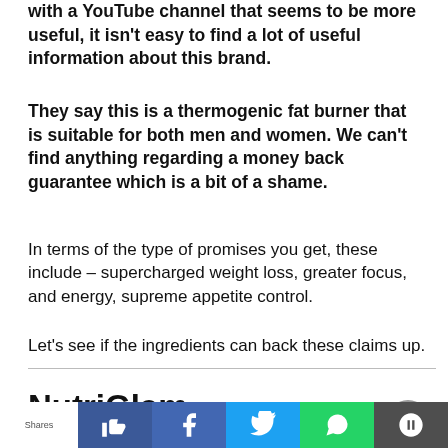with a YouTube channel that seems to be more useful, it isn't easy to find a lot of useful information about this brand.
They say this is a thermogenic fat burner that is suitable for both men and women. We can't find anything regarding a money back guarantee which is a bit of a shame.
In terms of the type of promises you get, these include – supercharged weight loss, greater focus, and energy, supreme appetite control.
Let's see if the ingredients can back these claims up.
NutriGlam NutriBurn Ingredients